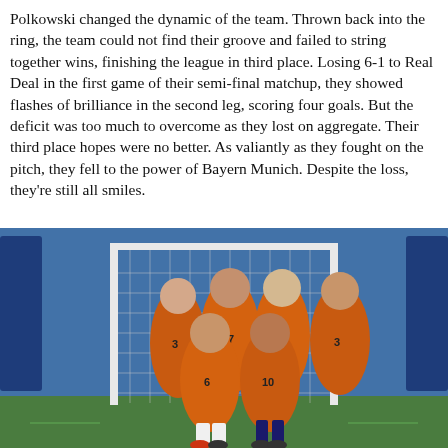Polkowski changed the dynamic of the team. Thrown back into the ring, the team could not find their groove and failed to string together wins, finishing the league in third place. Losing 6-1 to Real Deal in the first game of their semi-final matchup, they showed flashes of brilliance in the second leg, scoring four goals. But the deficit was too much to overcome as they lost on aggregate. Their third place hopes were no better. As valiantly as they fought on the pitch, they fell to the power of Bayern Munich. Despite the loss, they're still all smiles.
[Figure (photo): Six soccer players wearing orange jerseys with numbers (3, 17, 3, 6, 10) posing in front of a goal net inside an indoor soccer facility with blue walls and green turf floor.]